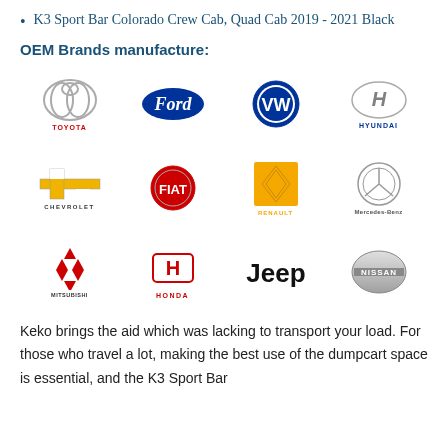K3 Sport Bar Colorado Crew Cab, Quad Cab 2019 - 2021 Black
OEM Brands manufacture:
[Figure (logo): Grid of 12 automotive brand logos: Toyota, Ford, Volkswagen, Hyundai, Chevrolet, Fiat, Renault, Mercedes-Benz, Mitsubishi, Honda, Jeep, Nissan]
Keko brings the aid which was lacking to transport your load. For those who travel a lot, making the best use of the dumpcart space is essential, and the K3 Sport Bar